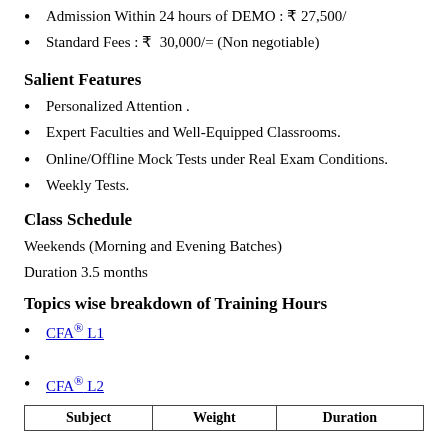Admission Within 24 hours of DEMO : ₹ 27,500/
Standard Fees : ₹ 30,000/= (Non negotiable)
Salient Features
Personalized Attention .
Expert Faculties and Well-Equipped Classrooms.
Online/Offline Mock Tests under Real Exam Conditions.
Weekly Tests.
Class Schedule
Weekends (Morning and Evening Batches)
Duration 3.5 months
Topics wise breakdown of Training Hours
CFA® L1
CFA® L2
| Subject | Weight | Duration |
| --- | --- | --- |